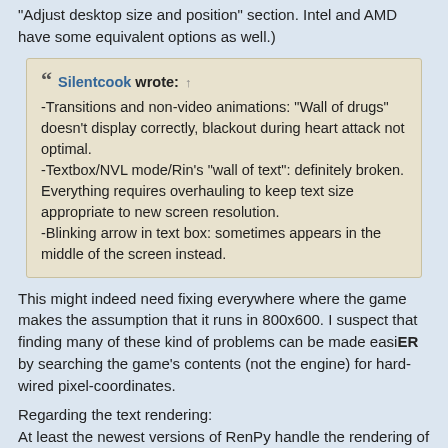"Adjust desktop size and position" section. Intel and AMD have some equivalent options as well.)
Silentcook wrote: ↑
-Transitions and non-video animations: "Wall of drugs" doesn't display correctly, blackout during heart attack not optimal.
-Textbox/NVL mode/Rin's "wall of text": definitely broken. Everything requires overhauling to keep text size appropriate to new screen resolution.
-Blinking arrow in text box: sometimes appears in the middle of the screen instead.
This might indeed need fixing everywhere where the game makes the assumption that it runs in 800x600. I suspect that finding many of these kind of problems can be made easiER by searching the game's contents (not the engine) for hard-wired pixel-coordinates.
Regarding the text rendering:
At least the newest versions of RenPy handle the rendering of text at bigger resolutions (bigger than the resolution a game was primarily designed for) pretty well. I noticed that while playing some other RenPy-based games. The text and the textbox are up-scaled by the same amount and the text still perfectly fits into the text box and still looks sharp because it is rendered at the correct resolution. Not sure if there are still problems with text that it outside the small textbox on the bottom of the